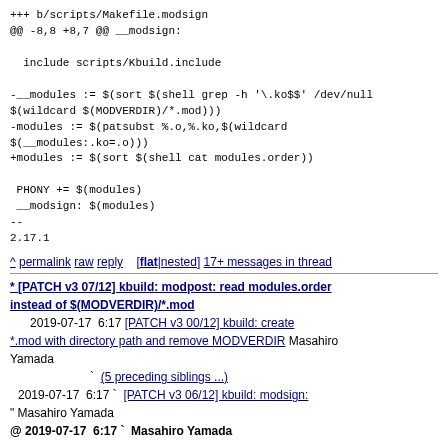+++ b/scripts/Makefile.modsign
@@ -8,8 +8,7 @@ __modsign:

  include scripts/Kbuild.include

-__modules := $(sort $(shell grep -h '\.ko$$' /dev/null $(wildcard $(MODVERDIR)/*.mod)))
-modules := $(patsubst %.o,%.ko,$(wildcard $(__modules:.ko=.o)))
+modules := $(sort $(shell cat modules.order))

 PHONY += $(modules)
 __modsign: $(modules)
--
2.17.1
^ permalink raw reply [flat|nested] 17+ messages in thread
* [PATCH v3 07/12] kbuild: modpost: read modules.order instead of $(MODVERDIR)/*.mod
   2019-07-17 6:17 [PATCH v3 00/12] kbuild: create *.mod with directory path and remove MODVERDIR Masahiro Yamada
                ` (5 preceding siblings ...)
  2019-07-17 6:17 ` [PATCH v3 06/12] kbuild: modsign: " Masahiro Yamada
@ 2019-07-17 6:17 ` Masahiro Yamada